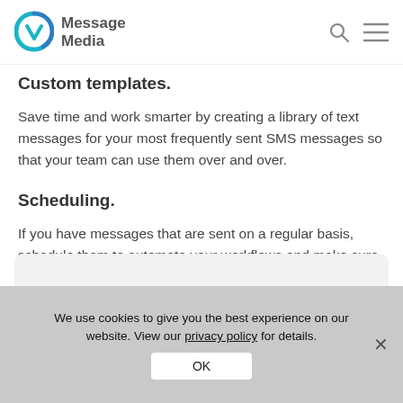Message Media
Custom templates.
Save time and work smarter by creating a library of text messages for your most frequently sent SMS messages so that your team can use them over and over.
Scheduling.
If you have messages that are sent on a regular basis, schedule them to automate your workflows and make sure you never miss an important communication.
We use cookies to give you the best experience on our website. View our privacy policy for details.